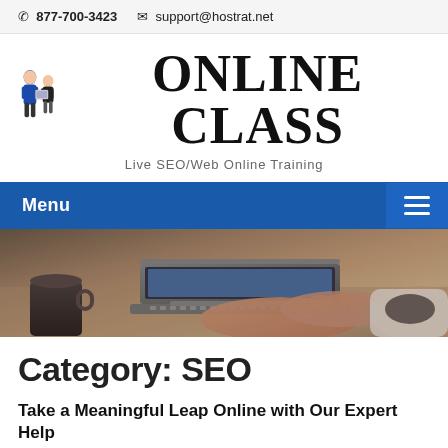📞 877-700-3423  ✉ support@hostrat.net
[Figure (logo): Online Class logo with two illustrated figures and bold serif text reading ONLINE CLASS]
Live SEO/Web Online Training
Menu
[Figure (photo): Hero photo: person typing on a laptop with a coffee mug in the foreground, warm brown tones]
Category: SEO
Take a Meaningful Leap Online with Our Expert Help
August 18, 2018 | No Comments | Categories: One on One Class, Online Class, SEO